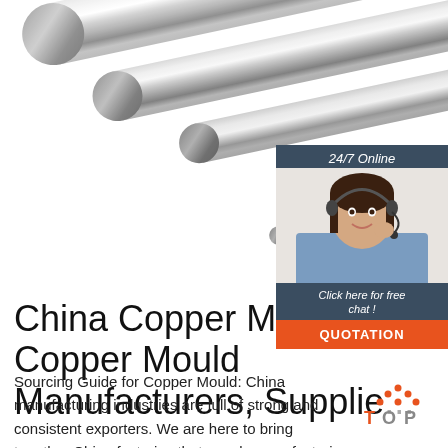[Figure (photo): Metal cylindrical rods (steel/chrome) arranged diagonally on a white background, showing three large rods and one small rod]
[Figure (infographic): Chat widget with dark blue background. Header says '24/7 Online'. Contains photo of female customer service agent wearing headset and smiling. Text 'Click here for free chat!' and orange button labeled 'QUOTATION']
China Copper Mould, Copper Mould Manufacturers, Supplie...
Sourcing Guide for Copper Mould: China manufacturing industries are full of strong and consistent exporters. We are here to bring together China factories that supply manufacturing systems and machinery that are used by processing industries including but ...
[Figure (logo): TOP logo with orange dots above text 'TOP' in orange and gray]